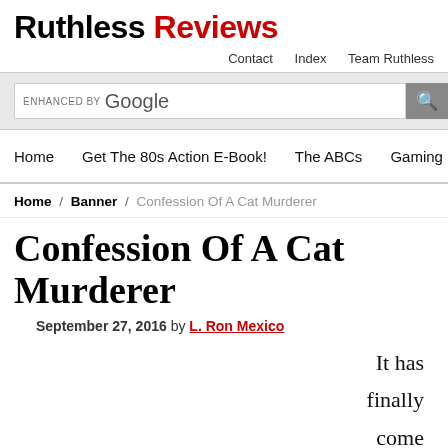Ruthless Reviews
Contact   Index   Team Ruthless
ENHANCED BY Google
Home   Get The 80s Action E-Book!   The ABCs   Gaming   M
Home / Banner / Confession Of A Cat Murderer
Confession Of A Cat Murderer
September 27, 2016 by L. Ron Mexico
It has finally come to